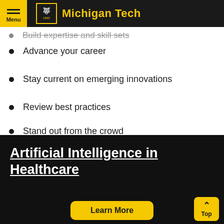Michigan Tech
Build expertise and skill sets
Advance your career
Stay current on emerging innovations
Review best practices
Stand out from the crowd
Network with colleagues
Artificial Intelligence in Healthcare
Learn More